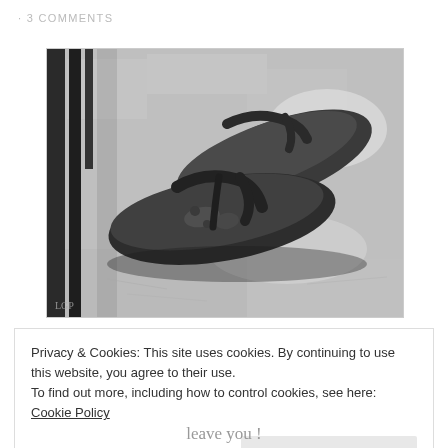· 3 COMMENTS
[Figure (photo): Black and white photograph of a pair of worn flip-flop sandals resting on a concrete surface, with metal bars visible in the background. Photographer's watermark 'LGP' visible in lower left corner.]
Privacy & Cookies: This site uses cookies. By continuing to use this website, you agree to their use.
To find out more, including how to control cookies, see here: Cookie Policy
Close and accept
leave you !